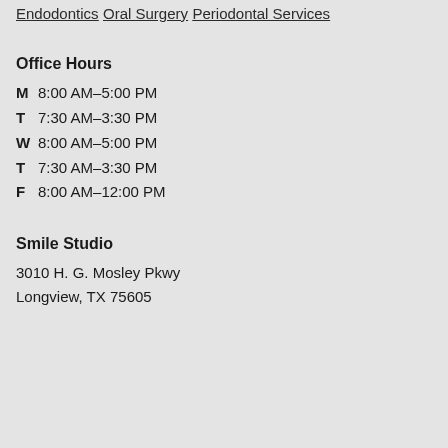Endodontics
Oral Surgery
Periodontal Services
Office Hours
M  8:00 AM–5:00 PM
T  7:30 AM–3:30 PM
W  8:00 AM–5:00 PM
T  7:30 AM–3:30 PM
F  8:00 AM–12:00 PM
Smile Studio
3010 H. G. Mosley Pkwy
Longview, TX 75605